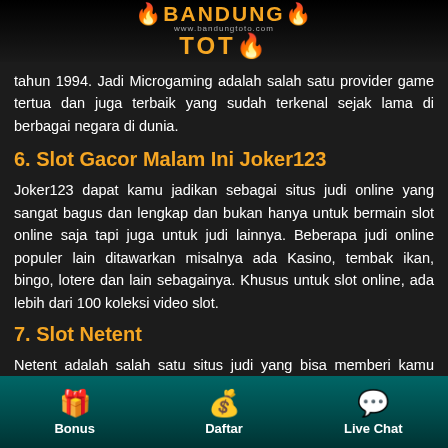BANDUNG TOTO - www.bandungtoto.com
tahun 1994. Jadi Microgaming adalah salah satu provider game tertua dan juga terbaik yang sudah terkenal sejak lama di berbagai negara di dunia.
6. Slot Gacor Malam Ini Joker123
Joker123 dapat kamu jadikan sebagai situs judi online yang sangat bagus dan lengkap dan bukan hanya untuk bermain slot online saja tapi juga untuk judi lainnya. Beberapa judi online populer lain ditawarkan misalnya ada Kasino, tembak ikan, bingo, lotere dan lain sebagainya. Khusus untuk slot online, ada lebih dari 100 koleksi video slot.
7. Slot Netent
Netent adalah salah satu situs judi yang bisa memberi kamu kesempatan bermain Lebih memuaskan. Pasalnya banyak banget pilihan judislot dengan kualitas audio visual dan profi-
Bonus | Daftar | Live Chat